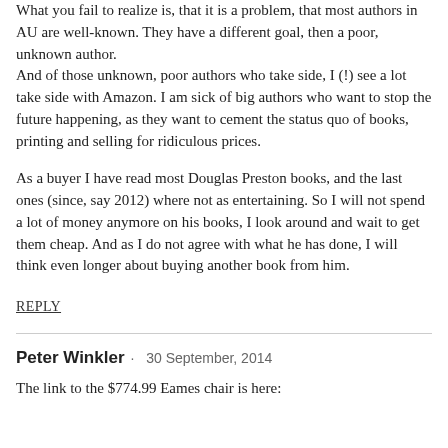What you fail to realize is, that it is a problem, that most authors in AU are well-known. They have a different goal, then a poor, unknown author.
And of those unknown, poor authors who take side, I (!) see a lot take side with Amazon. I am sick of big authors who want to stop the future happening, as they want to cement the status quo of books, printing and selling for ridiculous prices.
As a buyer I have read most Douglas Preston books, and the last ones (since, say 2012) where not as entertaining. So I will not spend a lot of money anymore on his books, I look around and wait to get them cheap. And as I do not agree with what he has done, I will think even longer about buying another book from him.
REPLY
Peter Winkler · 30 September, 2014
The link to the $774.99 Eames chair is here: